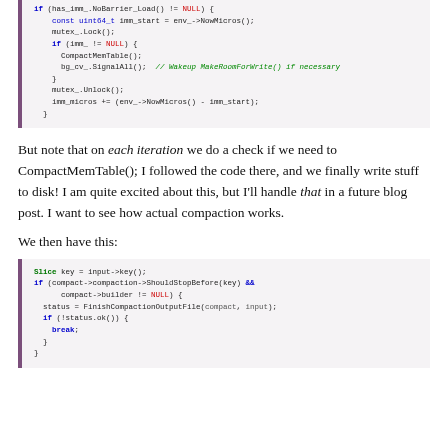[Figure (screenshot): Code block showing C++ code with if (has_imm_.NoBarrier_Load() != NULL) check, mutex lock/unlock, CompactMemTable() call, bg_cv_.SignalAll() with comment, and imm_micros accounting]
But note that on each iteration we do a check if we need to CompactMemTable(); I followed the code there, and we finally write stuff to disk! I am quite excited about this, but I'll handle that in a future blog post. I want to see how actual compaction works.
We then have this:
[Figure (screenshot): Code block showing Slice key = input->key(); if (compact->compaction->ShouldStopBefore(key) && compact->builder != NULL) { status = FinishCompactionOutputFile(compact, input); if (!status.ok()) { break; } }]